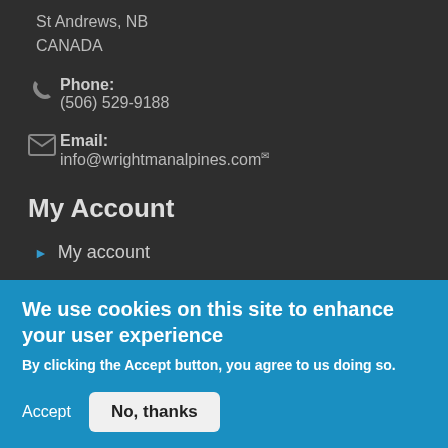St Andrews, NB
CANADA
Phone: (506) 529-9188
Email: info@wrightmanalpines.com
My Account
My account
Orders history
Advanced search
We use cookies on this site to enhance your user experience
By clicking the Accept button, you agree to us doing so.